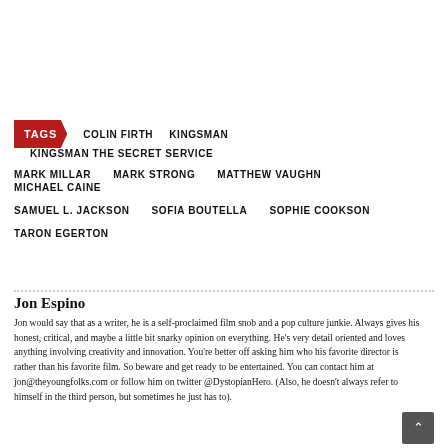TAGS   COLIN FIRTH   KINGSMAN   KINGSMAN THE SECRET SERVICE   MARK MILLAR   MARK STRONG   MATTHEW VAUGHN   MICHAEL CAINE   SAMUEL L. JACKSON   SOFIA BOUTELLA   SOPHIE COOKSON   TARON EGERTON
Jon Espino
Jon would say that as a writer, he is a self-proclaimed film snob and a pop culture junkie. Always gives his honest, critical, and maybe a little bit snarky opinion on everything. He's very detail oriented and loves anything involving creativity and innovation. You're better off asking him who his favorite director is rather than his favorite film. So beware and get ready to be entertained. You can contact him at jon@theyoungfolks.com or follow him on twitter @DystopianHero. (Also, he doesn't always refer to himself in the third person, but sometimes he just has to).